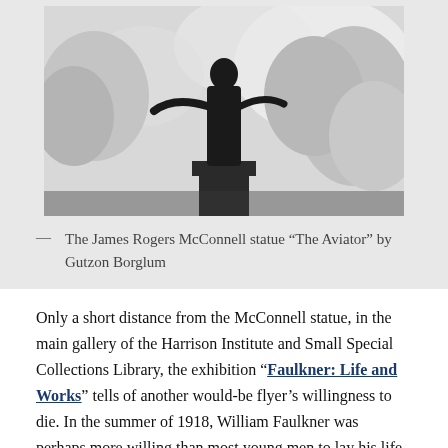[Figure (photo): Black and white photograph of the James Rogers McConnell statue 'The Aviator' by Gutzon Borglum, showing a dark silhouette figure against a bright sky with trees in the background]
— The James Rogers McConnell statue “The Aviator” by Gutzon Borglum
Only a short distance from the McConnell statue, in the main gallery of the Harrison Institute and Small Special Collections Library, the exhibition “Faulkner: Life and Works” tells of another would-be flyer’s willingness to die. In the summer of 1918, William Faulkner was perhaps more willing than most young men to lay his life on the line; his fiancé, Estelle Oldham, had yielded to her parents’ wishes and agreed to marry another man. Devastated, Faulkner took his parents’ advice to visit his friend Phil Stone at Yale and wait to be drafted, but Faulkner didn’t wait. Posing as British, and adding a “u” to the name Falkner, he enlisted in the Royal Air Force. The RAF’s height and